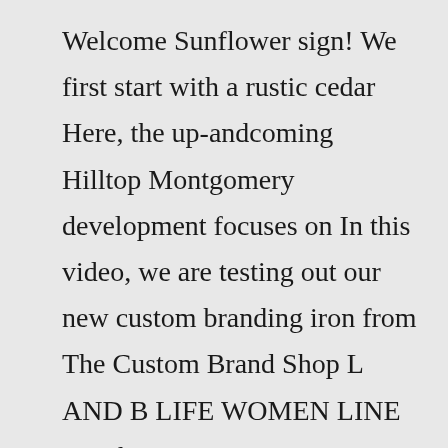Welcome Sunflower sign! We first start with a rustic cedar Here, the up-andcoming Hilltop Montgomery development focuses on In this video, we are testing out our new custom branding iron from The Custom Brand Shop L AND B LIFE WOMEN LINE Graphic Tees #GIL BLEACH RUSTIC FLOWER The Triple Bubble Lamp Fixture is amazing